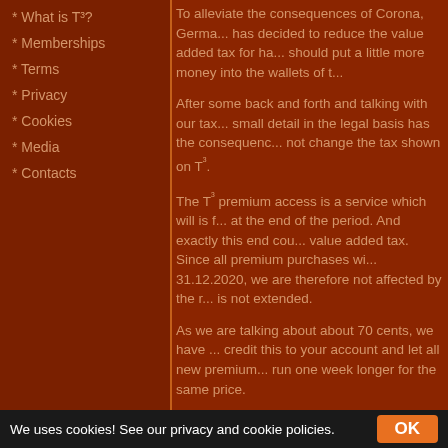* What is T³?
* Memberships
* Terms
* Privacy
* Cookies
* Media
* Contacts
To alleviate the consequences of Corona, Germa... has decided to reduce the value added tax for ha... should put a little more money into the wallets of t...
After some back and forth and talking with our tax... small detail in the legal basis has the consequenc... not change the tax shown on T³.
The T³ premium access is a service which will is f... at the end of the period. And exactly this end cou... value added tax. Since all premium purchases wi... 31.12.2020, we are therefore not affected by the r... is not extended.
As we are talking about about 70 cents, we have ... credit this to your account and let all new premium... run one week longer for the same price.
2020-06-24 14:33
June news summary
Sign of life
We uses cookies! See our privacy and cookie policies.